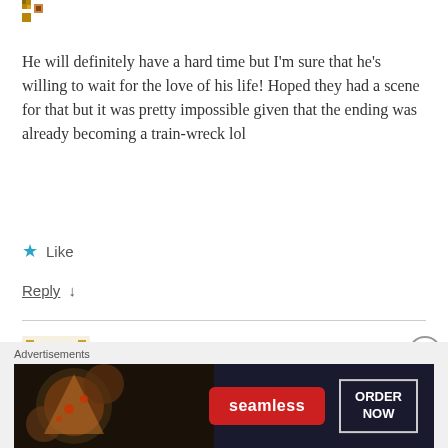[Figure (illustration): Small user avatar icons in gold/brown pixel art style at the top left]
He will definitely have a hard time but I'm sure that he's willing to wait for the love of his life! Hoped they had a scene for that but it was pretty impossible given that the ending was already becoming a train-wreck lol
Like
Reply ↓
Emo Lee
November 20, 2018 at 6:39 am
[Figure (illustration): Seamless food delivery advertisement banner with pizza image, Seamless logo, and ORDER NOW button]